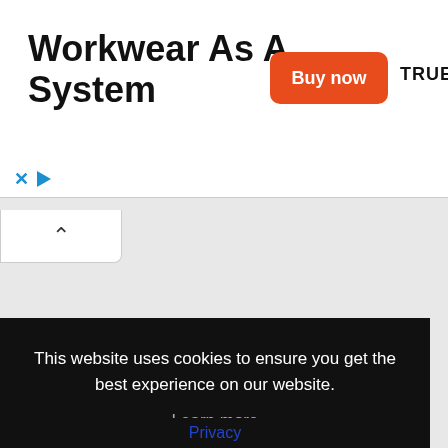[Figure (screenshot): Advertisement banner for Truewerk workwear. Shows bold text 'Workwear As A System', an orange 'Buy now' button, and the TRUEWERK logo in black.]
Workwear As A System
Buy now
TRUEWERK
IMMIGRATION SPECIALISTS
Post jobs
Immigration FAQs
This website uses cookies to ensure you get the best experience on our website.
Learn more
Got it!
Privacy